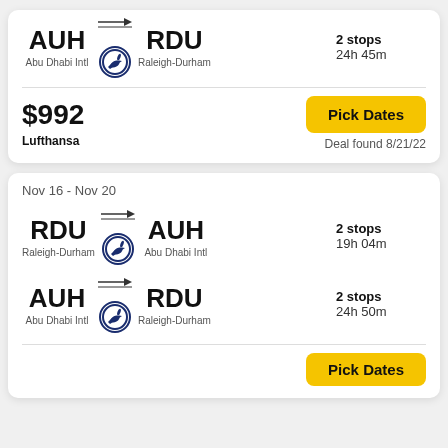AUH → RDU
Abu Dhabi Intl   Raleigh-Durham
2 stops
24h 45m
$992
Lufthansa
Pick Dates
Deal found 8/21/22
Nov 16 - Nov 20
RDU → AUH
Raleigh-Durham   Abu Dhabi Intl
2 stops
19h 04m
AUH → RDU
Abu Dhabi Intl   Raleigh-Durham
2 stops
24h 50m